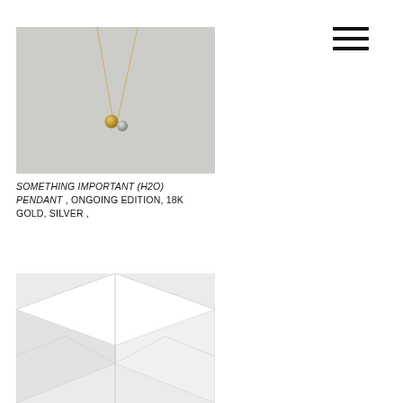[Figure (photo): Product photo of a pendant necklace with gold and silver spherical beads on a thin gold chain, photographed on a light gray background]
SOMETHING IMPORTANT (H2O) PENDANT , ONGOING EDITION, 18K GOLD, SILVER ,
[Figure (photo): Product photo showing geometric white box/packaging with angular chevron-like fold lines, photographed on white background]